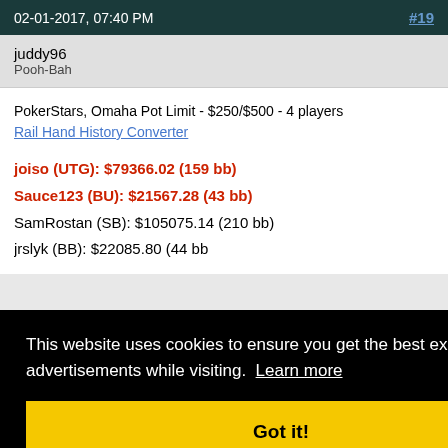02-01-2017, 07:40 PM   #19
juddy96
Pooh-Bah
PokerStars, Omaha Pot Limit - $250/$500 - 4 players
Rail Hand History Converter
joiso (UTG): $79366.02 (159 bb)
Sauce123 (BU): $21567.28 (43 bb)
SamRostan (SB): $105075.14 (210 bb)
jrslyk (BB): $22085.80 (44 bb)
This website uses cookies to ensure you get the best experience and relevant advertisements while visiting. Learn more
Got it!